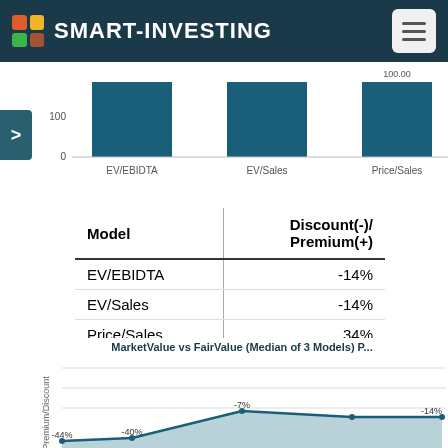SMART-INVESTING
[Figure (bar-chart): Price vs Fair Value by Model]
| Model | Discount(-)/ Premium(+) |
| --- | --- |
| EV/EBIDTA | -14% |
| EV/Sales | -14% |
| Price/Sales | 34% |
[Figure (area-chart): MarketValue vs FairValue (Median of 3 Models) P...]